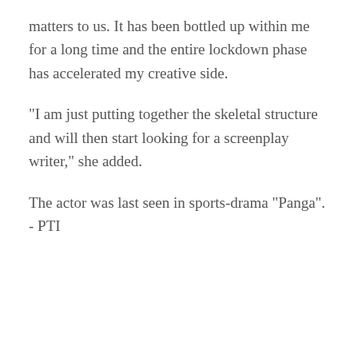matters to us. It has been bottled up within me for a long time and the entire lockdown phase has accelerated my creative side.
"I am just putting together the skeletal structure and will then start looking for a screenplay writer," she added.
The actor was last seen in sports-drama "Panga". - PTI